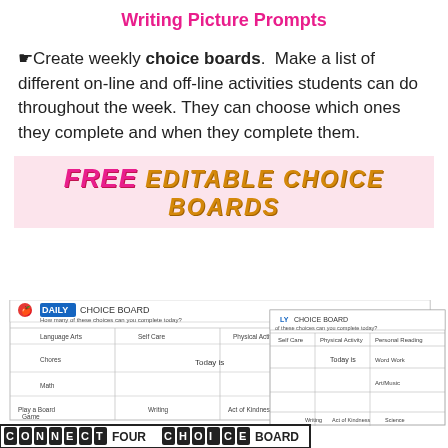Writing Picture Prompts
☛Create weekly choice boards. Make a list of different on-line and off-line activities students can do throughout the week. They can choose which ones they complete and when they complete them.
[Figure (infographic): Pink banner reading FREE EDITABLE CHOICE BOARDS in bold pink and gold stylized text]
[Figure (screenshot): Screenshot of Daily Choice Board worksheets showing a grid with Language Arts, Self Care, Physical Activity, Personal Reading, Chores, Today is, Word Work, Math, Art/Music, Play a Board Game, Writing, Act of Kindness, Science columns/rows. A second overlapping board is also visible. At the bottom a Connect Four Choice Board title is visible.]